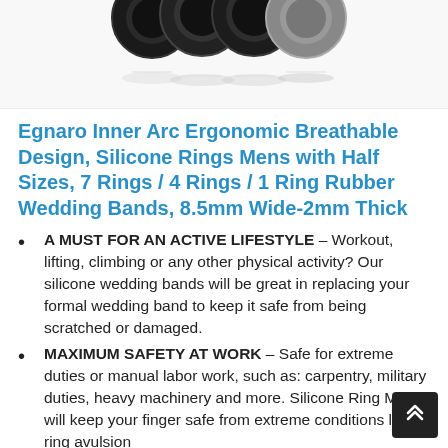[Figure (photo): Product photo showing multiple silicone rings in black and gray colors, partially cut off at the top of the page with a reflection effect below]
Egnaro Inner Arc Ergonomic Breathable Design, Silicone Rings Mens with Half Sizes, 7 Rings / 4 Rings / 1 Ring Rubber Wedding Bands, 8.5mm Wide-2mm Thick
A MUST FOR AN ACTIVE LIFESTYLE – Workout, lifting, climbing or any other physical activity? Our silicone wedding bands will be great in replacing your formal wedding band to keep it safe from being scratched or damaged.
MAXIMUM SAFETY AT WORK – Safe for extreme duties or manual labor work, such as: carpentry, military duties, heavy machinery and more. Silicone Ring Men will keep your finger safe from extreme conditions like ring avulsion